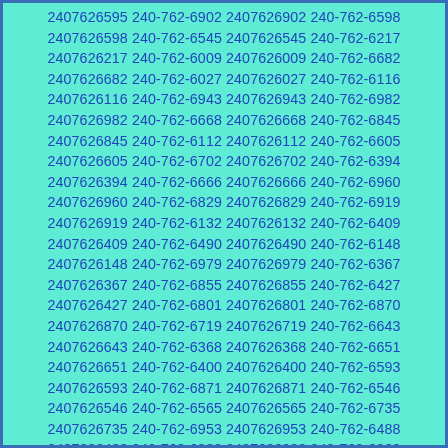2407626595 240-762-6902 2407626902 240-762-6598 2407626598 240-762-6545 2407626545 240-762-6217 2407626217 240-762-6009 2407626009 240-762-6682 2407626682 240-762-6027 2407626027 240-762-6116 2407626116 240-762-6943 2407626943 240-762-6982 2407626982 240-762-6668 2407626668 240-762-6845 2407626845 240-762-6112 2407626112 240-762-6605 2407626605 240-762-6702 2407626702 240-762-6394 2407626394 240-762-6666 2407626666 240-762-6960 2407626960 240-762-6829 2407626829 240-762-6919 2407626919 240-762-6132 2407626132 240-762-6409 2407626409 240-762-6490 2407626490 240-762-6148 2407626148 240-762-6979 2407626979 240-762-6367 2407626367 240-762-6855 2407626855 240-762-6427 2407626427 240-762-6801 2407626801 240-762-6870 2407626870 240-762-6719 2407626719 240-762-6643 2407626643 240-762-6368 2407626368 240-762-6651 2407626651 240-762-6400 2407626400 240-762-6593 2407626593 240-762-6871 2407626871 240-762-6546 2407626546 240-762-6565 2407626565 240-762-6735 2407626735 240-762-6953 2407626953 240-762-6488 2407626488 240-762-6938 2407626938 240-762-6968 2407626968 240-762-6327 2407626327 240-762-6111 2407626111 240-762-6526 2407626526 240-762-6139 2407626139 240-762-6972 2407626972 240-762-6501 2407626501 240-762-6685 2407626685 240-762-6029 2407626029 240-762-6856 2407626856 240-762-6629